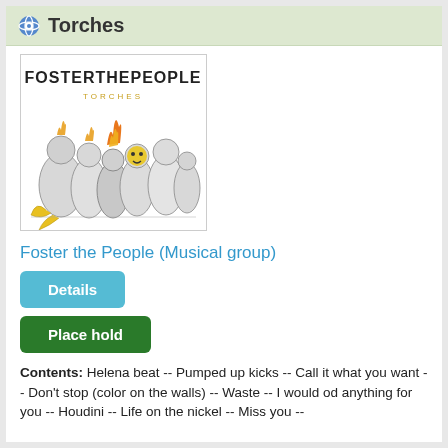Torches
[Figure (illustration): Album cover for 'Torches' by Foster the People. Shows the text 'FOSTERTHEPEOPLE' at top in black letters, 'TORCHES' in small yellow letters below. Below is an illustration of a crowd of stylized cartoon characters, mostly in black and white sketch style with yellow/orange flame accents.]
Foster the People (Musical group)
Details
Place hold
Contents: Helena beat -- Pumped up kicks -- Call it what you want -- Don't stop (color on the walls) -- Waste -- I would do anything for you -- Houdini -- Life on the nickel -- Miss you --